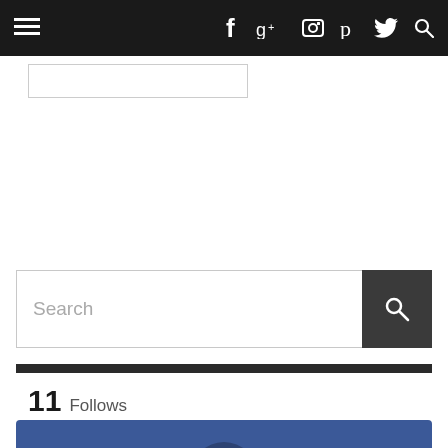Navigation bar with hamburger menu, f, g+, camera, Pinterest, Twitter, search icons
[Figure (screenshot): Empty gray input box / text field outline]
[Figure (screenshot): Search bar with placeholder text 'Search' and dark search button with magnifier icon]
11 Follows
[Figure (infographic): Facebook social follow widget showing 2,619 Followers on blue background with Facebook 'f' icon in dark circle]
Share This  ×